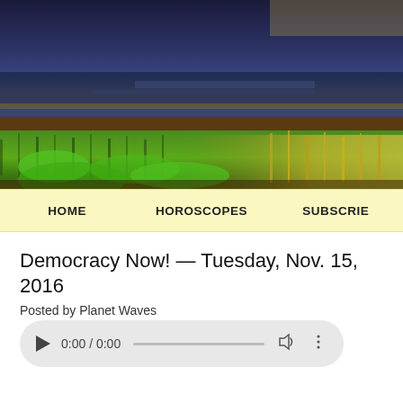[Figure (photo): Landscape photo showing green coastal grass/dunes in the foreground with a dark stormy ocean and dramatic sky in the background]
HOME   HOROSCOPES   SUBSCRIBE
Democracy Now! — Tuesday, Nov. 15, 2016
Posted by Planet Waves
[Figure (other): Audio player widget showing play button, time display 0:00 / 0:00, progress bar, volume icon, and more options icon]